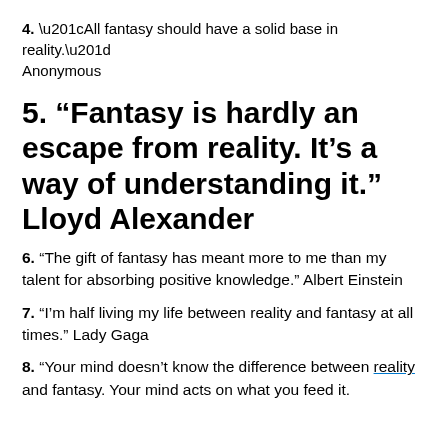4. “All fantasy should have a solid base in reality.” Anonymous
5. “Fantasy is hardly an escape from reality. It’s a way of understanding it.” Lloyd Alexander
6. “The gift of fantasy has meant more to me than my talent for absorbing positive knowledge.” Albert Einstein
7. “I’m half living my life between reality and fantasy at all times.” Lady Gaga
8. “Your mind doesn’t know the difference between reality and fantasy. Your mind acts on what you feed it.